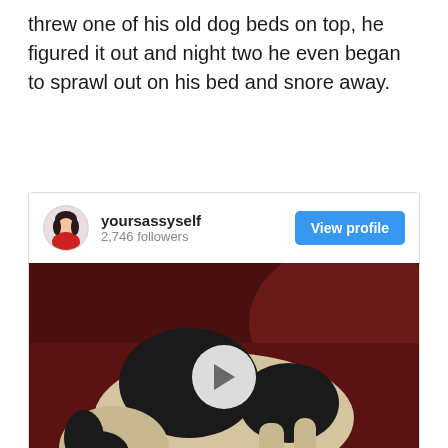threw one of his old dog beds on top, he figured it out and night two he even began to sprawl out on his bed and snore away.
[Figure (screenshot): Instagram embed card showing user 'yoursassyself' with 2,746 followers and a 'View profile' button in blue, followed by a video thumbnail of a black and white dog lying/sleeping on a dark red couch with a white play button overlay, and a 'View more on Instagram' link at the bottom.]